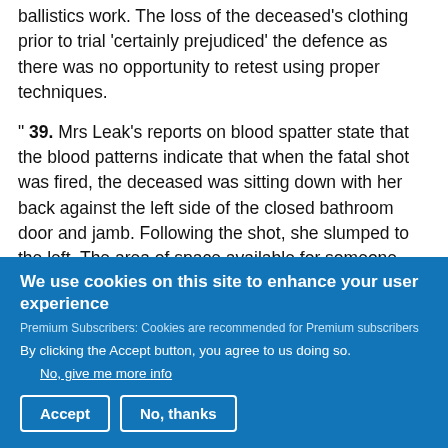due to the risk of cross contamination from the routine ballistics work. The loss of the deceased’s clothing prior to trial ‘certainly prejudiced’ the defence as there was no opportunity to retest using proper techniques.
“ 39. Mrs Leak’s reports on blood spatter state that the blood patterns indicate that when the fatal shot was fired, the deceased was sitting down with her back against the left side of the closed bathroom door and jamb. Following the shot, she slumped to the left. The area of space available for someone else to be present in the bathroom
We use cookies on this site to enhance your user experience
Premium Subscribers: Cookies are recommended for Premium subscribers
By clicking the Accept button, you agree to us doing so.
No, give me more info
Accept
No, thanks